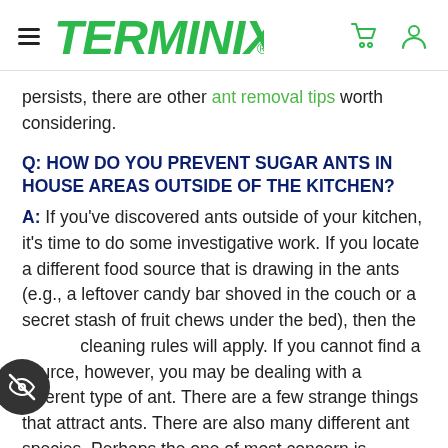TERMINIX
persists, there are other ant removal tips worth considering.
Q: HOW DO YOU PREVENT SUGAR ANTS IN HOUSE AREAS OUTSIDE OF THE KITCHEN?
A: If you've discovered ants outside of your kitchen, it's time to do some investigative work. If you locate a different food source that is drawing in the ants (e.g., a leftover candy bar shoved in the couch or a secret stash of fruit chews under the bed), then the same cleaning rules will apply. If you cannot find a source, however, you may be dealing with a different type of ant. There are a few strange things that attract ants. There are also many different ant species. Perhaps the one of most concern is